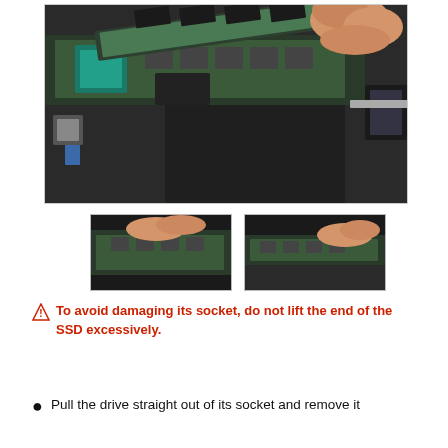[Figure (photo): Close-up photo of hands removing an SSD/RAM module from a MacBook logic board, showing green PCB with chips being lifted at an angle from the laptop chassis.]
[Figure (photo): Thumbnail photo showing fingers pressing down on SSD module in MacBook.]
[Figure (photo): Thumbnail photo showing SSD module partially removed from MacBook logic board slot.]
To avoid damaging its socket, do not lift the end of the SSD excessively.
Pull the drive straight out of its socket and remove it